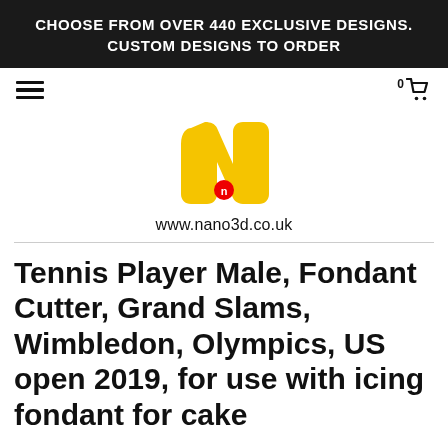CHOOSE FROM OVER 440 EXCLUSIVE DESIGNS. CUSTOM DESIGNS TO ORDER
[Figure (logo): Nano3D yellow stylized N logo with red circle detail]
www.nano3d.co.uk
Tennis Player Male, Fondant Cutter, Grand Slams, Wimbledon, Olympics, US open 2019, for use with icing fondant for cake